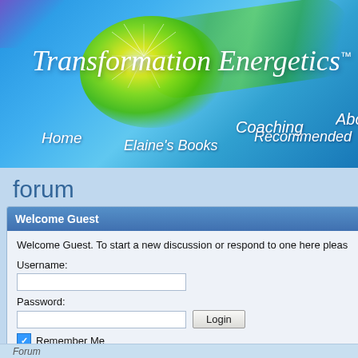[Figure (screenshot): Website header for Transformation Energetics with blue gradient background, green/yellow starburst glow, and navigation menu items: Home, Elaine's Books, Recommended, Coaching, Abo(ut)]
Transformation Energetics™
Home  Elaine's Books  Recommended  Coaching  Abo
forum
Welcome Guest
Welcome Guest. To start a new discussion or respond to one here pleas
Username:
Password:
Remember Me
Search forums
Forum